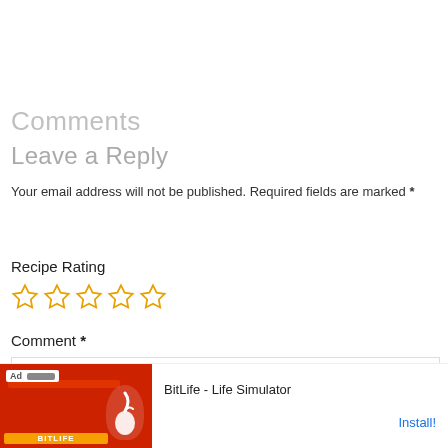Comments
Leave a Reply
Your email address will not be published. Required fields are marked *
Recipe Rating
[Figure (other): Five empty star rating icons in gold/yellow outline style]
Comment *
[Figure (other): Comment text area input box, empty, with light gray border]
[Figure (other): Ad banner for BitLife - Life Simulator with red background image and install button]